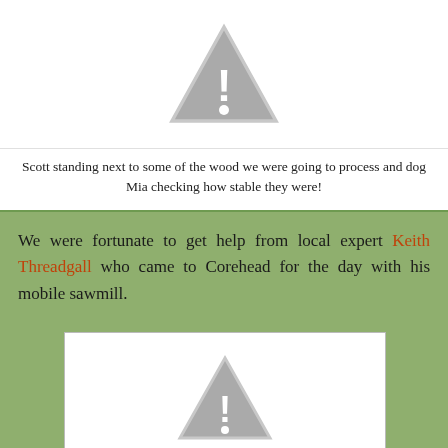[Figure (photo): Placeholder image with warning triangle icon representing a photo of Scott standing next to wood with dog Mia]
Scott standing next to some of the wood we were going to process and dog Mia checking how stable they were!
We were fortunate to get help from local expert Keith Threadgall who came to Corehead for the day with his mobile sawmill.
[Figure (photo): Placeholder image with warning triangle icon representing another photo related to the sawmill visit]